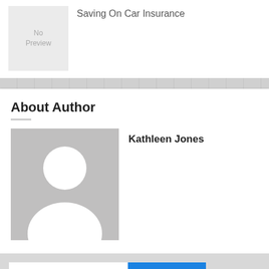[Figure (illustration): No Preview placeholder box — grey rectangle with text 'No Preview']
Saving On Car Insurance
About Author
[Figure (photo): Default avatar silhouette placeholder image — grey background with white person silhouette]
Kathleen Jones